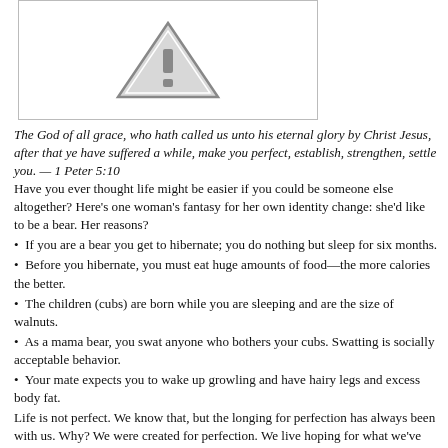[Figure (illustration): Warning triangle icon with exclamation mark, inside a bordered rectangular box]
The God of all grace, who hath called us unto his eternal glory by Christ Jesus, after that ye have suffered a while, make you perfect, establish, strengthen, settle you. — 1 Peter 5:10
Have you ever thought life might be easier if you could be someone else altogether? Here's one woman's fantasy for her own identity change: she'd like to be a bear. Her reasons?
If you are a bear you get to hibernate; you do nothing but sleep for six months.
Before you hibernate, you must eat huge amounts of food—the more calories the better.
The children (cubs) are born while you are sleeping and are the size of walnuts.
As a mama bear, you swat anyone who bothers your cubs. Swatting is socially acceptable behavior.
Your mate expects you to wake up growling and have hairy legs and excess body fat.
Life is not perfect. We know that, but the longing for perfection has always been with us. Why? We were created for perfection. We live hoping for what we've never known, somehow knowing one day it will be ours. The soul's longing for perfection in a imperfect...